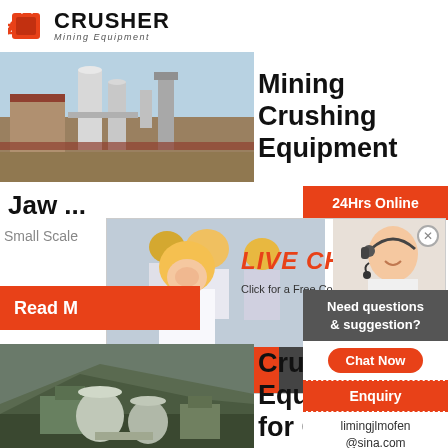[Figure (logo): CRUSHER Mining Equipment logo with red shopping bag icon]
[Figure (photo): Industrial mining/crushing facility with silos and buildings]
Mining Crushing Equipment
Jaw ...
24Hrs Online
Small Scale
[Figure (photo): Live Chat popup with workers in hard hats and customer service agent with headset. Text: LIVE CHAT, Click for a Free Consultation, Chat now, Chat later]
Read M
Need questions & suggestion?
Chat Now
Enquiry
limingjlmofen@sina.com
[Figure (photo): Mining crushing equipment site with large machinery and tanks]
Crush Equipment for Go